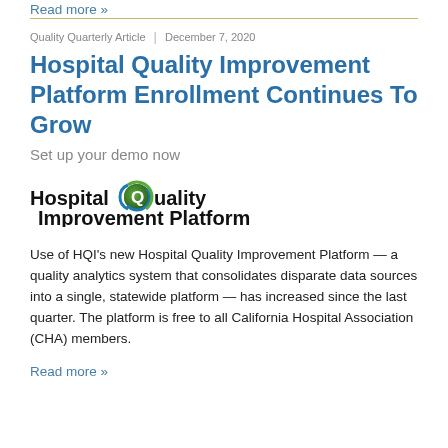Read more »
Quality Quarterly Article  |  December 7, 2020
Hospital Quality Improvement Platform Enrollment Continues To Grow
Set up your demo now
[Figure (logo): Hospital Quality Improvement Platform logo with a circular Q icon in green and blue]
Use of HQI's new Hospital Quality Improvement Platform — a quality analytics system that consolidates disparate data sources into a single, statewide platform — has increased since the last quarter. The platform is free to all California Hospital Association (CHA) members.
Read more »